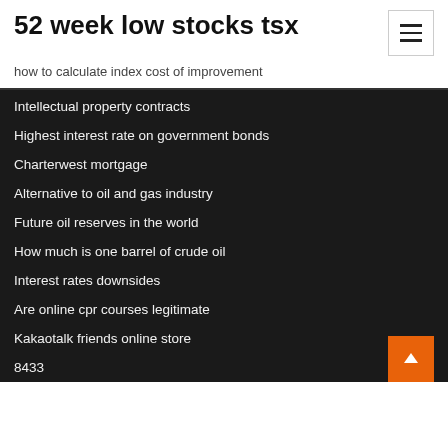52 week low stocks tsx
how to calculate index cost of improvement
Intellectual property contracts
Highest interest rate on government bonds
Charterwest mortgage
Alternative to oil and gas industry
Future oil reserves in the world
How much is one barrel of crude oil
Interest rates downsides
Are online cpr courses legitimate
Kakaotalk friends online store
8433